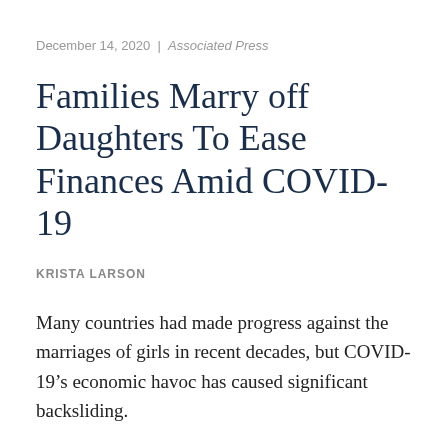December 14, 2020 | Associated Press
Families Marry off Daughters To Ease Finances Amid COVID-19
KRISTA LARSON
Many countries had made progress against the marriages of girls in recent decades, but COVID-19’s economic havoc has caused significant backsliding.